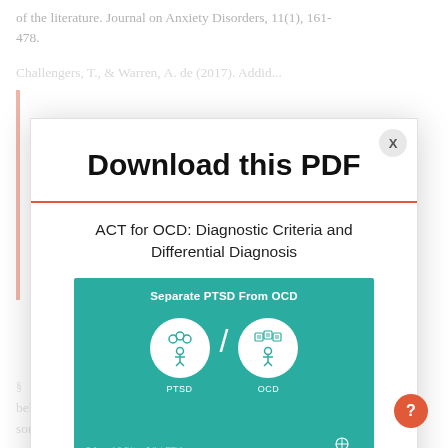of the literature. Journal on Anxiety Disorders, 11(1), 161-478.
Challengers, T., & Warren, A. de (2017). Addid...
Download this PDF
ACT for OCD: Diagnostic Criteria and Differential Diagnosis
[Figure (infographic): Teal infographic titled 'Separate PTSD From OCD' showing two white circles with icons: left circle labeled PTSD with a person and thought bubbles icon, a slash separator, and right circle labeled OCD with a person and multiple thought/task icons. Psychotherapy Academy logo in bottom right.]
behaviors of repetitive checking compulsion. And this could look like someone locks the door to make